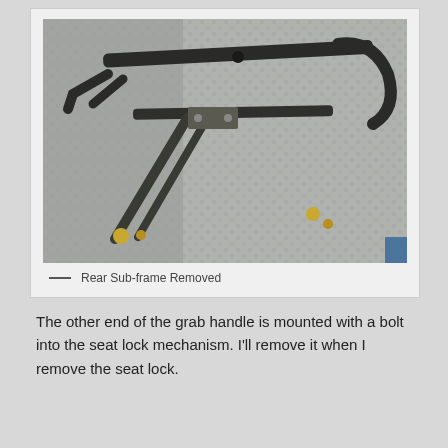[Figure (photo): A motorcycle rear sub-frame removed, lying on a metal diamond-plate surface. The frame is dark metal, T-shaped, with various mounting brackets and bolts visible.]
— Rear Sub-frame Removed
The other end of the grab handle is mounted with a bolt into the seat lock mechanism. I'll remove it when I remove the seat lock.